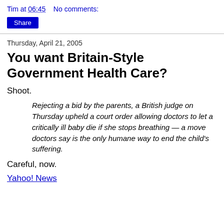Tim at 06:45   No comments:
Share
Thursday, April 21, 2005
You want Britain-Style Government Health Care?
Shoot.
Rejecting a bid by the parents, a British judge on Thursday upheld a court order allowing doctors to let a critically ill baby die if she stops breathing — a move doctors say is the only humane way to end the child's suffering.
Careful, now.
Yahoo! News